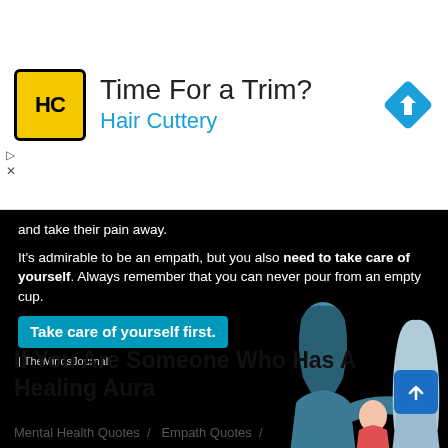[Figure (screenshot): Hair Cuttery advertisement banner with logo, 'Time For a Trim?' headline, blue subtitle 'Hair Cuttery', and blue diamond arrow icon]
[Figure (illustration): Dark background image with white text about empathy and self-care, a teal highlight box reading 'Take care of yourself first.', TheMindsJournal branding, and illustrated figures of two women]
If You Are Someone Who Has A Healing Aura
Mental Health Quotes  /   Empath Quotes  /